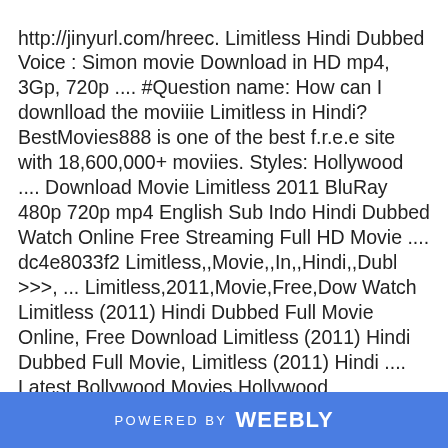http://jinyurl.com/hreec. Limitless Hindi Dubbed Voice : Simon movie Download in HD mp4, 3Gp, 720p .... #Question name: How can I downlload the moviiie Limitless in Hindi? BestMovies888 is one of the best f.r.e.e site with 18,600,000+ moviies. Styles: Hollywood .... Download Movie Limitless 2011 BluRay 480p 720p mp4 English Sub Indo Hindi Dubbed Watch Online Free Streaming Full HD Movie .... dc4e8033f2 Limitless,,Movie,,In,,Hindi,,Dubl >>>, ... Limitless,2011,Movie,Free,Dow Watch Limitless (2011) Hindi Dubbed Full Movie Online, Free Download Limitless (2011) Hindi Dubbed Full Movie, Limitless (2011) Hindi .... Latest Bollywood Movies,Hollywood Movies,Hindi Dubbed Hollywood and South ... Saaho
POWERED BY weebly